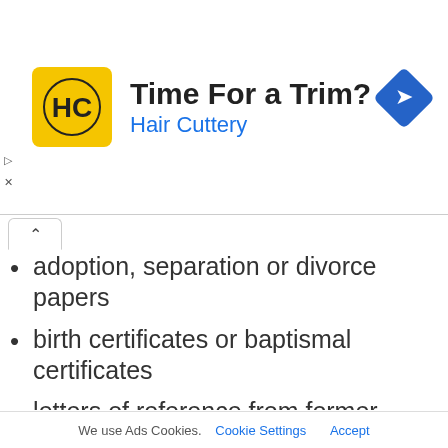[Figure (other): Hair Cuttery advertisement banner with yellow logo, 'Time For a Trim?' heading, 'Hair Cuttery' subtitle in blue, and a blue navigation diamond icon on the right.]
adoption, separation or divorce papers
birth certificates or baptismal certificates
letters of reference from former employers
trade or professional certificates and licences
car registration documents (if you're importing a motor vehicle into Canada)
school records, diplomas or degrees for
We use Ads Cookies.  Cookie Settings  Accept